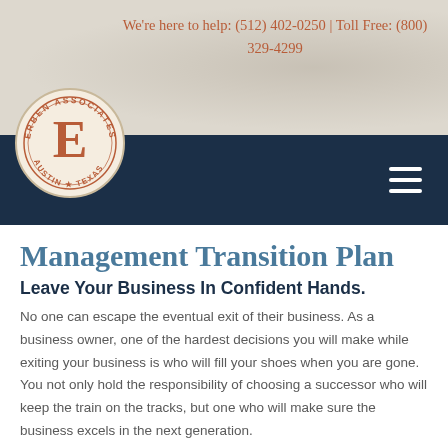We're here to help: (512) 402-0250 | Toll Free: (800) 329-4299
[Figure (logo): Erben Associates Austin Texas circular logo with large E in center, orange/rust color on beige background]
Management Transition Plan
Leave Your Business In Confident Hands.
No one can escape the eventual exit of their business. As a business owner, one of the hardest decisions you will make while exiting your business is who will fill your shoes when you are gone. You not only hold the responsibility of choosing a successor who will keep the train on the tracks, but one who will make sure the business excels in the next generation.